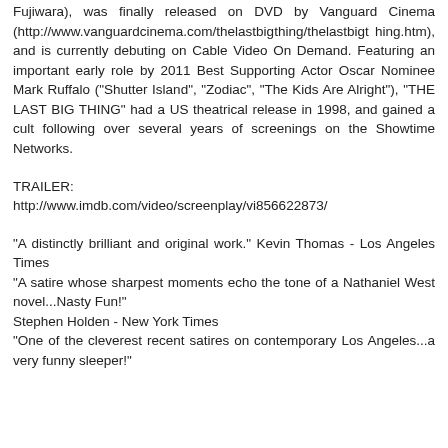Fujiwara), was finally released on DVD by Vanguard Cinema (http://www.vanguardcinema.com/thelastbigthing/thelastbigthing.htm), and is currently debuting on Cable Video On Demand. Featuring an important early role by 2011 Best Supporting Actor Oscar Nominee Mark Ruffalo ("Shutter Island", "Zodiac", "The Kids Are Alright"), "THE LAST BIG THING" had a US theatrical release in 1998, and gained a cult following over several years of screenings on the Showtime Networks.
TRAILER:
http://www.imdb.com/video/screenplay/vi856622873/
"A distinctly brilliant and original work." Kevin Thomas - Los Angeles Times
"A satire whose sharpest moments echo the tone of a Nathaniel West novel...Nasty Fun!"
Stephen Holden - New York Times
"One of the cleverest recent satires on contemporary Los Angeles...a very funny sleeper!"